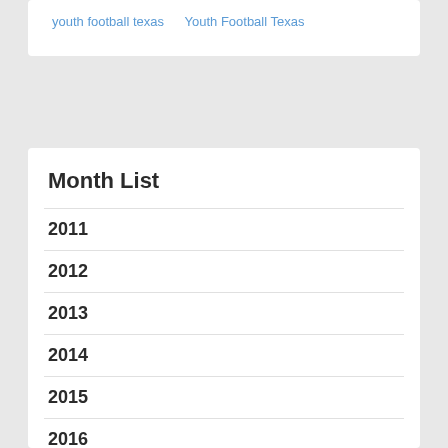youth football texas   Youth Football Texas
Month List
2011
2012
2013
2014
2015
2016
2017
2018
2019